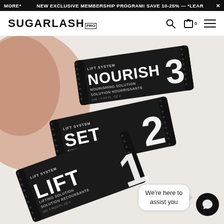MORE* NEW EXCLUSIVE MEMBERSHIP PROGRAM! SAVE 10-25% — *LEAR ×
[Figure (logo): SUGARLASH PRO logo with search, cart (0), and menu icons in navigation bar]
[Figure (photo): Three black foil single-use packets for the Sugarlash Pro Lift System: Nourish 3 (Nourishing Solution), Set 2 (Fixing Solution), and Lift 1 (Lifting Solution), arranged overlapping on a white background. A chat bubble reads 'We're here to assist you' with a chat icon button.]